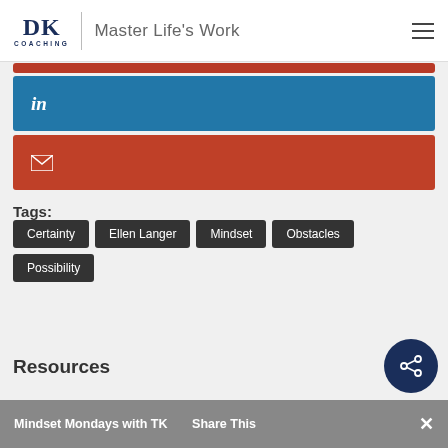DK COACHING | Master Life's Work
[Figure (logo): DK Coaching logo with LinkedIn button (blue) and email button (red)]
Tags: Certainty, Ellen Langer, Mindset, Obstacles, Possibility
Resources
Mindset Mondays with TK    Share This    ×